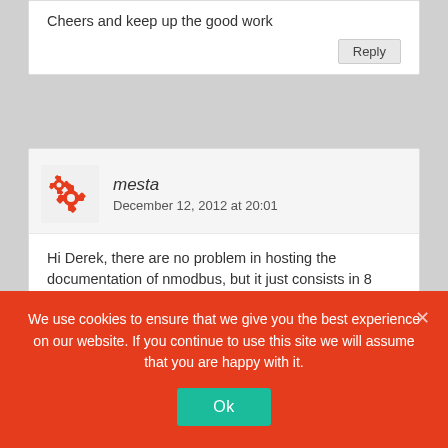Cheers and keep up the good work
Reply
mesta
December 12, 2012 at 20:01
Hi Derek, there are no problem in hosting the documentation of nmodbus, but it just consists in 8 examples that can be found inside the source code ("MySample" folder).
About the event-driven communication, it's just a layer above the syncronous communication.
To develop an asyncronous communication you need to have a thread dedicated to polling the modbus
We use cookies to ensure that we give you the best experience on our website. If you continue to use this site we will assume that you are happy with it.
Ok